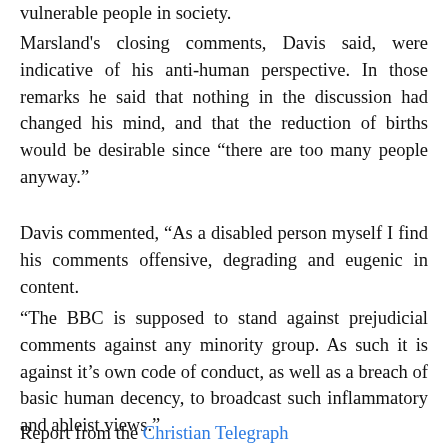vulnerable people in society.
Marsland's closing comments, Davis said, were indicative of his anti-human perspective. In those remarks he said that nothing in the discussion had changed his mind, and that the reduction of births would be desirable since “there are too many people anyway.”
Davis commented, “As a disabled person myself I find his comments offensive, degrading and eugenic in content.
“The BBC is supposed to stand against prejudicial comments against any minority group. As such it is against it’s own code of conduct, as well as a breach of basic human decency, to broadcast such inflammatory and ableist views.”
Report from the Christian Telegraph